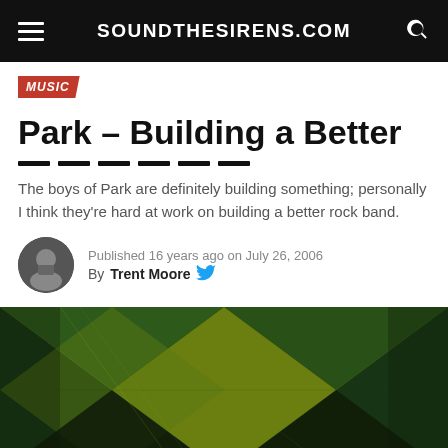SOUNDTHESIRENS.COM
MUSIC
Park – Building a Better
The boys of Park are definitely building something; personally I think they're hard at work on building a better rock band.
Published 16 years ago on July 26, 2006
By Trent Moore
[Figure (photo): Close-up photo of a geometric diamond/argyle patterned fabric or surface in dark green, yellow-green, and black colors]